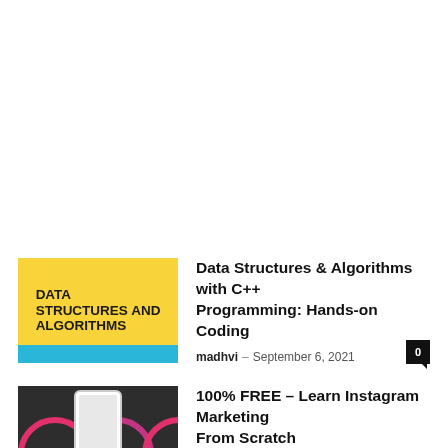[Figure (illustration): Yellow thumbnail with text DATA STRUCTURES AND ALGORITHMS in bold black, with a blue strip at the bottom]
Data Structures & Algorithms with C++ Programming: Hands-on Coding
madhvi – September 6, 2021
[Figure (photo): Dark background with Instagram logo circles and a white smartphone showing Instagram, suggesting Instagram marketing]
100% FREE – Learn Instagram Marketing From Scratch
madhvi – September 4, 2021